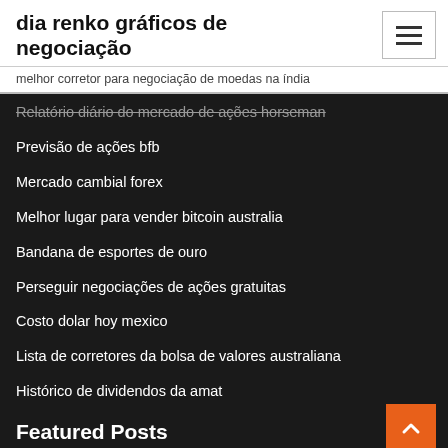dia renko gráficos de negociação
melhor corretor para negociação de moedas na índia
Relatório diário do mercado de ações horseman
Previsão de ações bfb
Mercado cambial forex
Melhor lugar para vender bitcoin australia
Bandana de esportes de ouro
Perseguir negociações de ações gratuitas
Costo dolar hoy mexico
Lista de corretores da bolsa de valores australiana
Histórico de dividendos da amat
Featured Posts